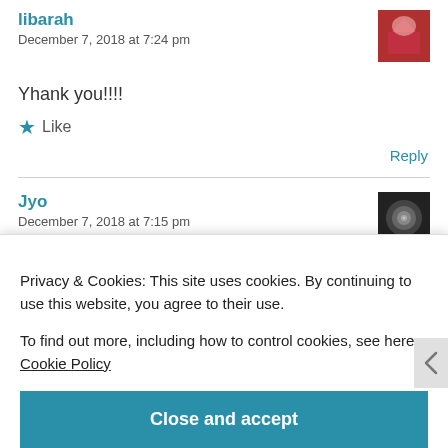libarah
December 7, 2018 at 7:24 pm
Yhank you!!!!
★ Like
Reply
Jyo
December 7, 2018 at 7:15 pm
Privacy & Cookies: This site uses cookies. By continuing to use this website, you agree to their use.
To find out more, including how to control cookies, see here: Cookie Policy
Close and accept